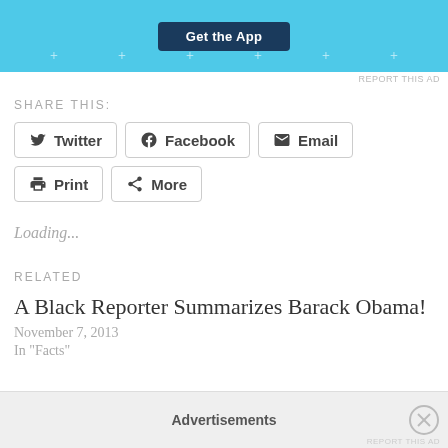[Figure (screenshot): Blue advertisement banner with 'Get the App' button and decorative plus signs]
REPORT THIS AD
SHARE THIS:
Twitter  Facebook  Email  Print  More
Loading...
RELATED
A Black Reporter Summarizes Barack Obama!
November 7, 2013
In "Facts"
Advertisements